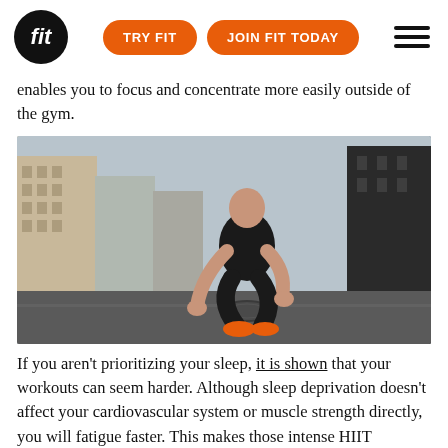fit | TRY FIT | JOIN FIT TODAY
enables you to focus and concentrate more easily outside of the gym.
[Figure (photo): Muscular male athlete in black tank top crouching down tying/checking orange sneakers on an urban street with buildings in the background]
If you aren't prioritizing your sleep, it is shown that your workouts can seem harder. Although sleep deprivation doesn't affect your cardiovascular system or muscle strength directly, you will fatigue faster. This makes those intense HIIT